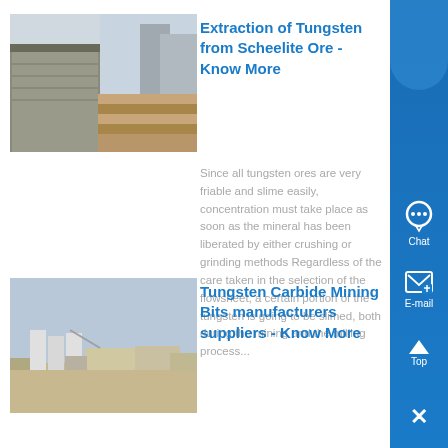[Figure (photo): Industrial building exterior with metal structures and stacked wooden pallets]
Extraction of Tungsten from Scheelite Ore - Know More
Since all tungsten ores are very friable and slime easily, concentration must take place as soon as the mineral has been liberated by either crushing or grinding methods Regardless of the care taken in the selection of the flowsheet, a certain portion of the tungsten is going to be slimed, both during the mining and the milling process...
[Figure (photo): Aerial view of a mining facility with silos and industrial equipment in a flat landscape]
Tungsten Carbide Mining Bits manufacturers suppliers - Know More